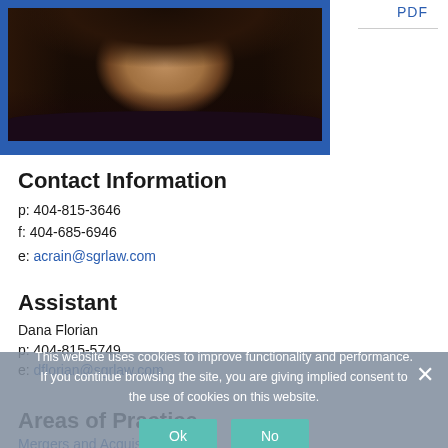[Figure (photo): Professional portrait of a woman with long dark wavy hair against a blue background frame]
PDF
Contact Information
p: 404-815-3646
f: 404-685-6946
e: acrain@sgrlaw.com
Assistant
Dana Florian
p: 404-815-5749
e: dflorian@sgrlaw.com
Areas of Practice
Mergers and Acquisitions
This website uses cookies to improve functionality and performance. If you continue browsing the site, you are giving implied consent to the use of cookies on this website.